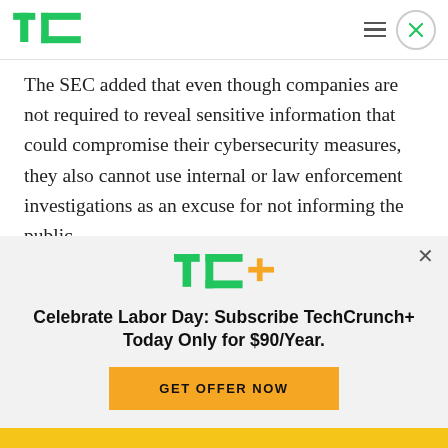[Figure (logo): TechCrunch green TC logo in the top-left header]
The SEC added that even though companies are not required to reveal sensitive information that could compromise their cybersecurity measures, they also cannot use internal or law enforcement investigations as an excuse for not informing the public.
[Figure (logo): TechCrunch TC+ logo in green and yellow]
Celebrate Labor Day: Subscribe TechCrunch+ Today Only for $90/Year.
GET OFFER NOW